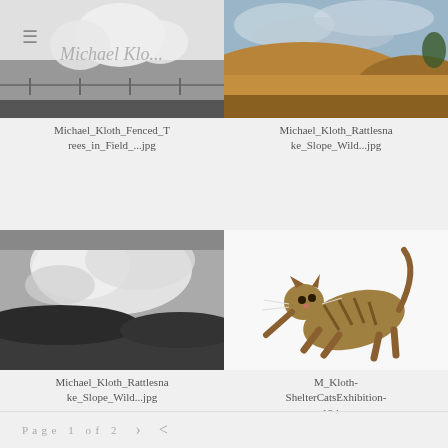[Figure (photo): Black and white infrared photo of fenced trees in a field with a watermark reading Michael Kloth]
Michael_Kloth_Fenced_Trees_in_Field_...jpg
[Figure (photo): Color landscape photograph of Rattlesnake Slope with golden grassy hills under a cloudy sky]
Michael_Kloth_Rattlesnake_Slope_Wild...jpg
[Figure (photo): Black and white photograph of Rattlesnake Slope with dramatic storm clouds and low hills]
Michael_Kloth_Rattlesnake_Slope_Wild...jpg
[Figure (photo): Color photo of a Bengal or tabby cat leaping or running on a white background]
M_Kloth-ShelterCatsExhibition-18.jpg
Page 1 of 2  >  <